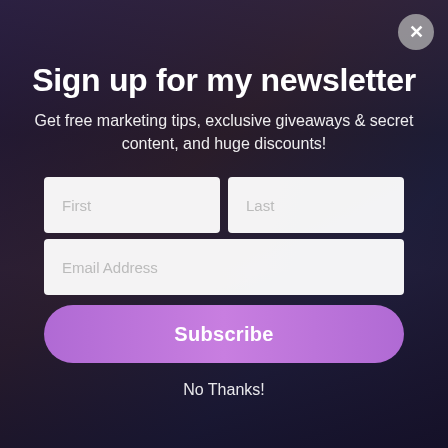Sign up for my newsletter
Get free marketing tips, exclusive giveaways & secret content, and huge discounts!
First
Last
Email Address
Subscribe
No Thanks!